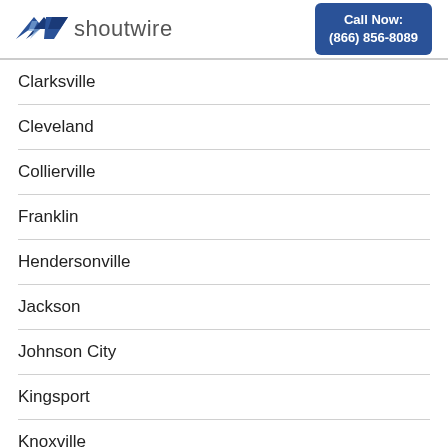[Figure (logo): Shoutwire logo with blue bird/lightning bolt icon and 'shoutwire' text]
Call Now: (866) 856-8089
Clarksville
Cleveland
Collierville
Franklin
Hendersonville
Jackson
Johnson City
Kingsport
Knoxville